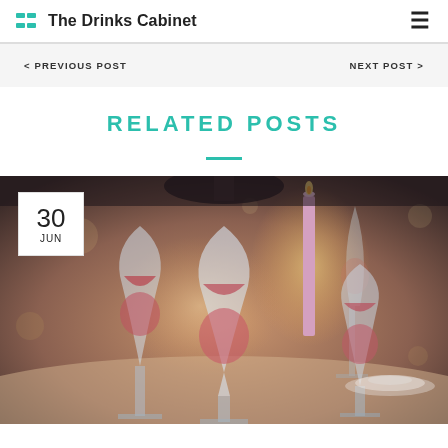The Drinks Cabinet
< PREVIOUS POST   NEXT POST >
RELATED POSTS
[Figure (photo): A dining table set with multiple wine glasses filled with rosé wine, candles, and elegant tableware. A date badge overlay shows '30 JUN'.]